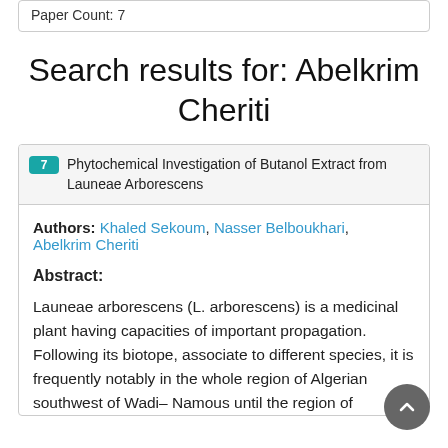Paper Count: 7
Search results for: Abelkrim Cheriti
7 Phytochemical Investigation of Butanol Extract from Launeae Arborescens
Authors: Khaled Sekoum, Nasser Belboukhari, Abelkrim Cheriti
Abstract:
Launeae arborescens (L. arborescens) is a medicinal plant having capacities of important propagation. Following its biotope, associate to different species, it is frequently notably in the whole region of Algerian southwest of Wadi– Namous until the region of